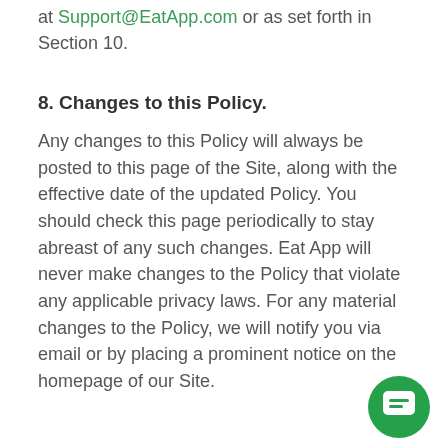at Support@EatApp.com or as set forth in Section 10.
8. Changes to this Policy.
Any changes to this Policy will always be posted to this page of the Site, along with the effective date of the updated Policy. You should check this page periodically to stay abreast of any such changes. Eat App will never make changes to the Policy that violate any applicable privacy laws. For any material changes to the Policy, we will notify you via email or by placing a prominent notice on the homepage of our Site.